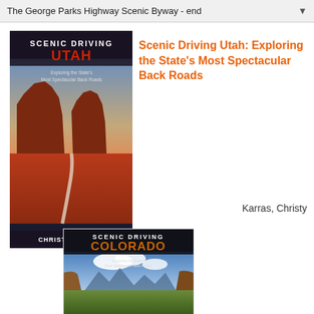The George Parks Highway Scenic Byway - end
[Figure (illustration): Book cover for Scenic Driving Utah: Exploring the State's Most Spectacular Back Roads by Christy Karras. Shows red rock buttes in Monument Valley with a road winding through the desert landscape at sunset.]
Scenic Driving Utah: Exploring the State's Most Spectacular Back Roads
Karras, Christy
[Figure (illustration): Book cover for Scenic Driving Colorado. Shows a mountain landscape with a canyon and green valley under a blue sky with clouds.]